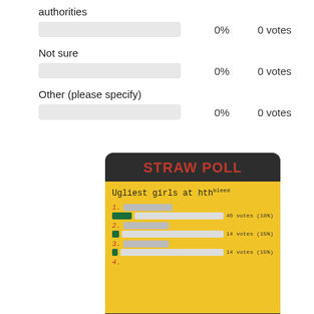authorities
[Figure (bar-chart): authorities]
0%
0 votes
Not sure
[Figure (bar-chart): ]
0%
0 votes
Other (please specify)
[Figure (bar-chart): ]
0%
0 votes
[Figure (screenshot): Straw Poll screenshot showing 'Ugliest girls at hth' poll with blurred names. Item 1: blurred name, 46 votes (18%); Item 2: blurred name, 14 votes (15%); Item 3: blurred name, 14 votes (15%). Yellow background with dark header.]